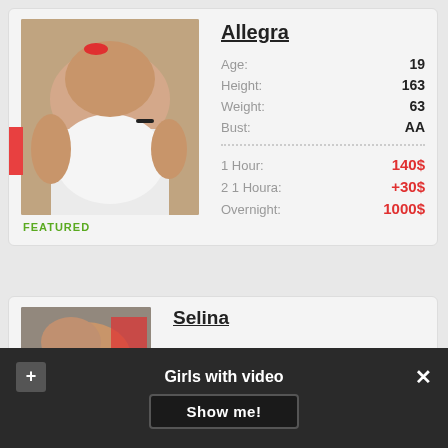[Figure (photo): Close-up photo of a person in white clothing]
FEATURED
Allegra
Age: 19
Height: 163
Weight: 63
Bust: AA
1 Hour: 140$
2 1 Houra: +30$
Overnight: 1000$
[Figure (photo): Partial photo of Selina]
Selina
Girls with video
Show me!